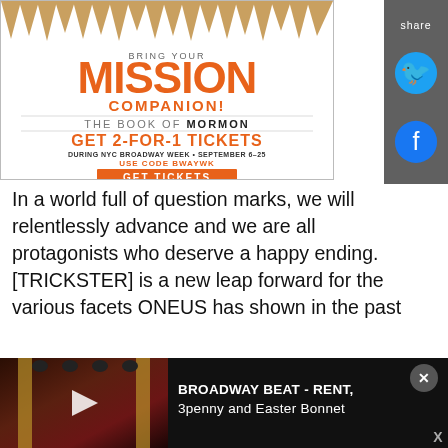[Figure (illustration): Advertisement for The Book of Mormon Broadway show. Gold leaf decoration at top. Text: BRING YOUR MISSION COMPANION! THE BOOK OF MORMON. GET 2-FOR-1 TICKETS. DURING NYC BROADWAY WEEK • SEPTEMBER 6-25. USE CODE BWAYWK. GET TICKETS button in orange.]
[Figure (illustration): Social share sidebar with 'share' label, Twitter bird icon in blue, Facebook circle icon in blue, on dark gray background.]
In a world full of question marks, we will relentlessly advance and we are all protagonists who deserve a happy ending. [TRICKSTER] is a new leap forward for the various facets ONEUS has shown in the past
[Figure (screenshot): Video player bar at bottom showing Broadway Beat - RENT, 3penny and Easter Bonnet. Dark theater interior thumbnail with play button on left. Close button (X) on right.]